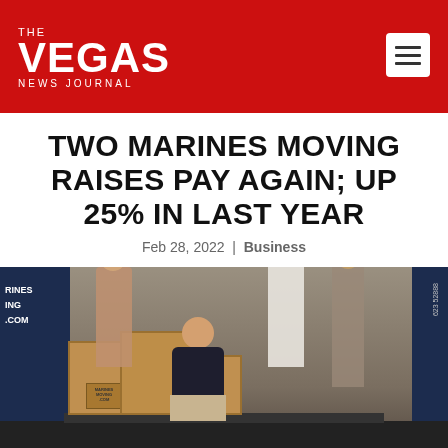The Vegas News Journal
TWO MARINES MOVING RAISES PAY AGAIN; UP 25% IN LAST YEAR
Feb 28, 2022 | Business
[Figure (photo): Group of people posing in front of Two Marines Moving company trucks, with moving boxes. A man in a dark shirt sits on the truck tailgate in the foreground.]